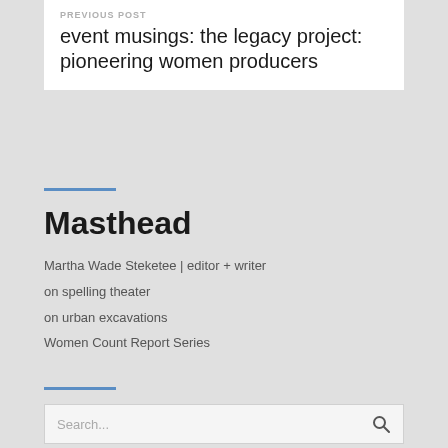PREVIOUS POST
event musings: the legacy project: pioneering women producers
Masthead
Martha Wade Steketee | editor + writer
on spelling theater
on urban excavations
Women Count Report Series